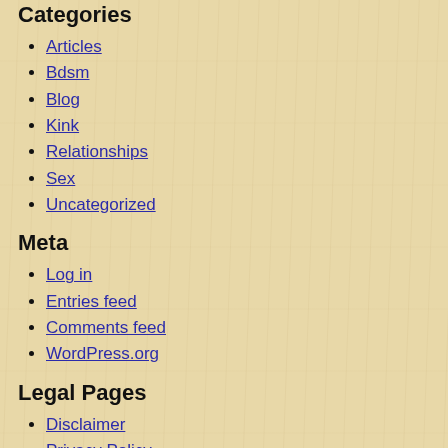Categories
Articles
Bdsm
Blog
Kink
Relationships
Sex
Uncategorized
Meta
Log in
Entries feed
Comments feed
WordPress.org
Legal Pages
Disclaimer
Privacy Policy
Terms of Use
© 2022 Sugar Plum